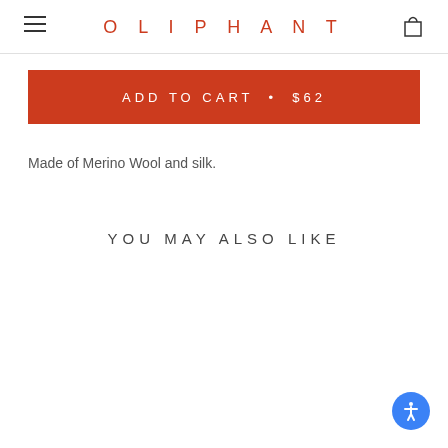OLIPHANT
ADD TO CART • $62
Made of Merino Wool and silk.
YOU MAY ALSO LIKE